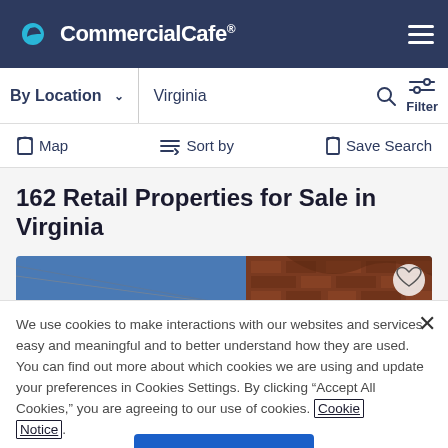CommercialCafe®
By Location  Virginia
Map  Sort by  Save Search
162 Retail Properties for Sale in Virginia
[Figure (photo): Partial view of a brick building with ornate architecture against a blue sky]
We use cookies to make interactions with our websites and services easy and meaningful and to better understand how they are used. You can find out more about which cookies we are using and update your preferences in Cookies Settings. By clicking "Accept All Cookies," you are agreeing to our use of cookies. Cookie Notice.